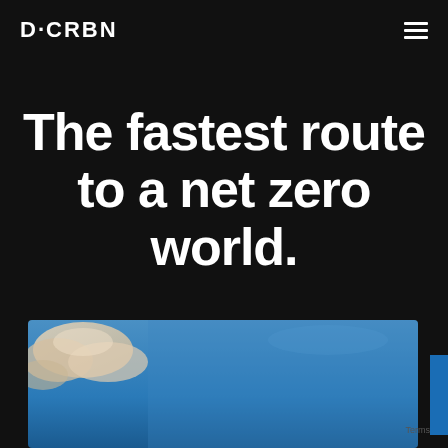D·CRBN
The fastest route to a net zero world.
[Figure (photo): Sky photo with blue sky and clouds, partially visible at bottom of page]